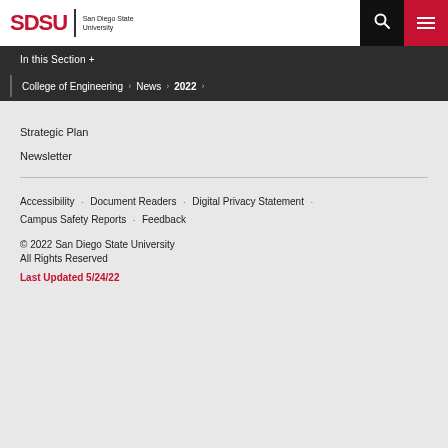SDSU San Diego State University
In this Section +
College of Engineering › News › 2022 ›
Strategic Plan
Newsletter
Accessibility · Document Readers · Digital Privacy Statement · Campus Safety Reports · Feedback
© 2022 San Diego State University
All Rights Reserved
Last Updated 5/24/22